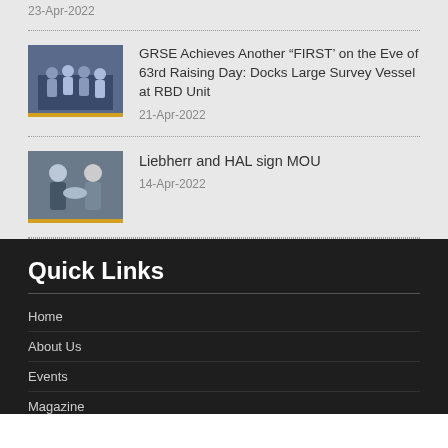23-Apr-2022
[Figure (photo): Group of people in uniforms standing together]
GRSE Achieves Another “FIRST’ on the Eve of 63rd Raising Day: Docks Large Survey Vessel at RBD Unit
21-Apr-2022
[Figure (photo): Two people shaking hands signing MOU]
Liebherr and HAL sign MOU
14-Apr-2022
Quick Links
Home
About Us
Events
Magazine